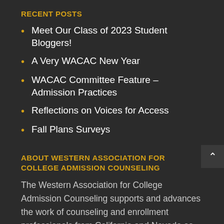RECENT POSTS
Meet Our Class of 2023 Student Bloggers!
A Very WACAC New Year
WACAC Committee Feature – Admission Practices
Reflections on Voices for Access
Fall Plans Surveys
ABOUT WESTERN ASSOCIATION FOR COLLEGE ADMISSION COUNSELING
The Western Association for College Admission Counseling supports and advances the work of counseling and enrollment professionals from California and Nevada as they help all students realize their full potential, with emphasis on